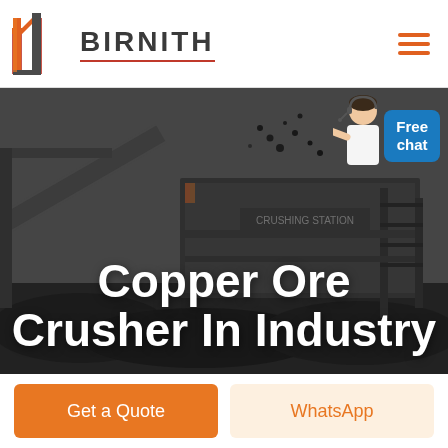[Figure (logo): Birnith company logo with orange building icon and dark text BIRNITH with red underline, plus hamburger menu icon on right]
[Figure (photo): Industrial copper ore crushing station machinery in dark/grey tones with scattered ore rocks, with overlay text 'Copper Ore Crusher In Industry' in white bold font, and a Free chat blue button and customer service person icon in top right]
Get a Quote
WhatsApp